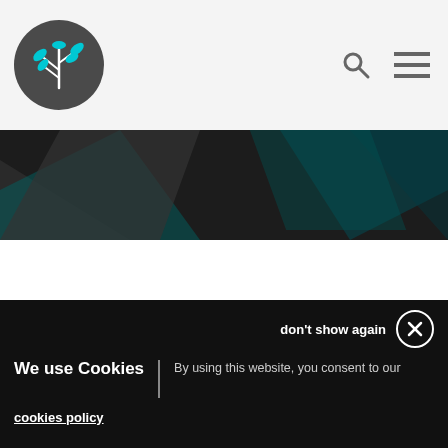[Figure (logo): All-Ireland Institute of Hospice and Palliative Care logo — circular dark grey badge with a white plant/leaf branch with teal/cyan leaves]
[Figure (illustration): Dark decorative band with teal and dark geometric shapes forming abstract design]
All-Ireland Institute of Hospice and Palliative Care
don't show again
We use Cookies | By using this website, you consent to our
cookies policy